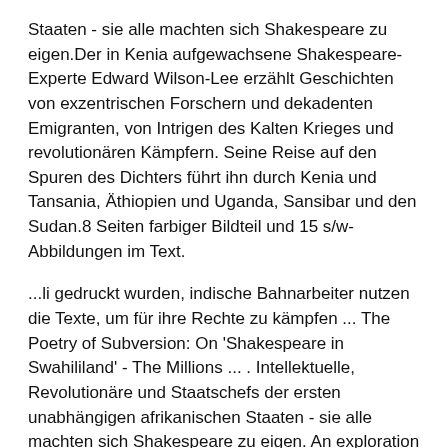Staaten - sie alle machten sich Shakespeare zu eigen.Der in Kenia aufgewachsene Shakespeare-Experte Edward Wilson-Lee erzählt Geschichten von exzentrischen Forschern und dekadenten Emigranten, von Intrigen des Kalten Krieges und revolutionären Kämpfern. Seine Reise auf den Spuren des Dichters führt ihn durch Kenia und Tansania, Äthiopien und Uganda, Sansibar und den Sudan.8 Seiten farbiger Bildteil und 15 s/w-Abbildungen im Text.
...li gedruckt wurden, indische Bahnarbeiter nutzen die Texte, um für ihre Rechte zu kämpfen ... The Poetry of Subversion: On 'Shakespeare in Swahililand' - The Millions ... . Intellektuelle, Revolutionäre und Staatschefs der ersten unabhängigen afrikanischen Staaten - sie alle machten sich Shakespeare zu eigen. An exploration of Shakespeare as a global poet Shakespeare in Swahililand tells the unexpected literary history of Shakespeare s influence in East Africa. Beginning with